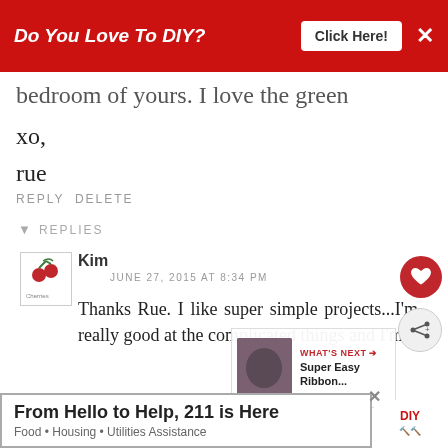[Figure (screenshot): Red advertisement banner at top: 'Do You Love To DIY?' with 'Click Here!' button and X close button]
bedroom of yours. I love the green
xo,
rue
REPLY DELETE
▾ REPLIES
Kim
JUNE 27, 2015 AT 8:34 PM
Thanks Rue. I like super simple projects...I'm really good at the complicated things and I'm
[Figure (screenshot): WHAT'S NEXT overlay with thumbnail image and text 'Super Easy Ribbon...']
[Figure (screenshot): Bottom ad banner: 'From Hello to Help, 211 is Here' with subtitle 'Food • Housing • Utilities Assistance']